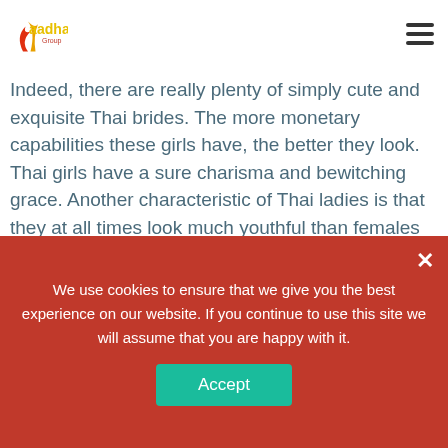Aadhav Group logo header with hamburger menu
[Figure (photo): Partial photo of a woman in pink clothing, with CanStockPhoto.com watermark - csp64077812]
Indeed, there are really plenty of simply cute and exquisite Thai brides. The more monetary capabilities these girls have, the better they look. Thai girls have a sure charisma and bewitching grace. Another characteristic of Thai ladies is that they at all times look much youthful than females of the same age dwelling in different countries. It seems that Thai folks have invented a magic potion that grants eternal youth. Vietnam is among the hottest countries when it comes to
We use cookies to ensure that we give you the best experience on our website. If you continue to use this site we will assume that you are happy with it.
Accept